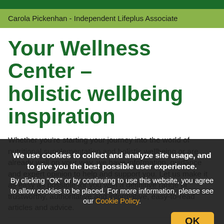Carola Pickenhan - Independent Lifeplus Associate
Your Wellness Center – holistic wellbeing inspiration
Whether you're starting your journey into the world of nutritional supplementation and holistic wellbeing or are already well on your way, we have information, guidance and expert opinion to help and support you. Let us make it as easy as possible for you with a definitive range of trustworthy, authoritative and informative, easy-to-read articles and advice.
We use cookies to collect and analyze site usage, and to give you the best possible user experience.
By clicking "OK" or by continuing to use this website, you agree to allow cookies to be placed. For more information, please see our Cookie Policy.